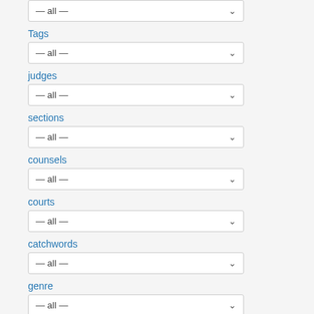[Figure (screenshot): Partial dropdown at top showing '— all —' with chevron]
Tags
[Figure (screenshot): Dropdown selector showing '— all —' with chevron for Tags]
judges
[Figure (screenshot): Dropdown selector showing '— all —' with chevron for judges]
sections
[Figure (screenshot): Dropdown selector showing '— all —' with chevron for sections]
counsels
[Figure (screenshot): Dropdown selector showing '— all —' with chevron for counsels]
courts
[Figure (screenshot): Dropdown selector showing '— all —' with chevron for courts]
catchwords
[Figure (screenshot): Dropdown selector showing '— all —' with chevron for catchwords]
genre
[Figure (screenshot): Dropdown selector showing '— all —' with chevron for genre]